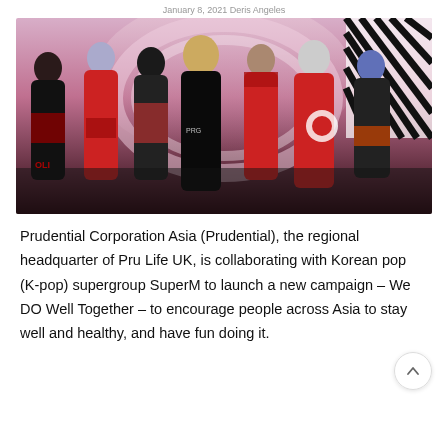January 8, 2021 Deris Angeles
[Figure (photo): Seven members of K-pop supergroup SuperM posing together in red and black outfits against a stylized pink and black background with geometric stripe elements]
Prudential Corporation Asia (Prudential), the regional headquarter of Pru Life UK, is collaborating with Korean pop (K-pop) supergroup SuperM to launch a new campaign – We DO Well Together – to encourage people across Asia to stay well and healthy, and have fun doing it.